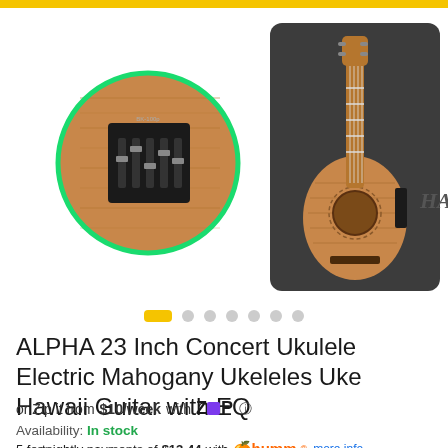[Figure (photo): Product photo of ALPHA 23 Inch Concert Ukulele showing the instrument with a close-up circle inset of the EQ tuner/pickup panel, alongside the full ukulele with black bag]
ALPHA 23 Inch Concert Ukulele Electric Mahogany Ukeleles Uke Hawaii Guitar with EQ
or Zip it from $10/week with Zip ⓘ
Availability: In stock
5 fortnightly payments of $13.44 with humm more info
or 4 fortnightly payments of $16.81 with afterpay More info